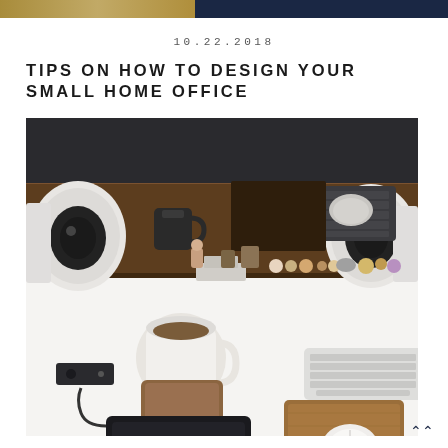10.22.2018
TIPS ON HOW TO DESIGN YOUR SMALL HOME OFFICE
[Figure (photo): Overhead view of a neatly organized home office desk with an iMac, keyboard, mouse, two white speakers, a coffee mug, a graphics tablet, and various small desk accessories on a wooden shelf ledge.]